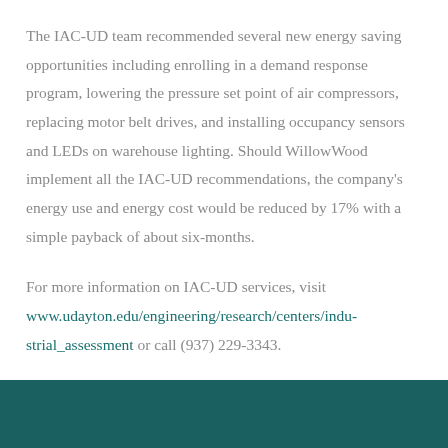The IAC-UD team recommended several new energy saving opportunities including enrolling in a demand response program, lowering the pressure set point of air compressors, replacing motor belt drives, and installing occupancy sensors and LEDs on warehouse lighting. Should WillowWood implement all the IAC-UD recommendations, the company's energy use and energy cost would be reduced by 17% with a simple payback of about six-months.
For more information on IAC-UD services, visit www.udayton.edu/engineering/research/centers/industrial_assessment or call (937) 229-3343.